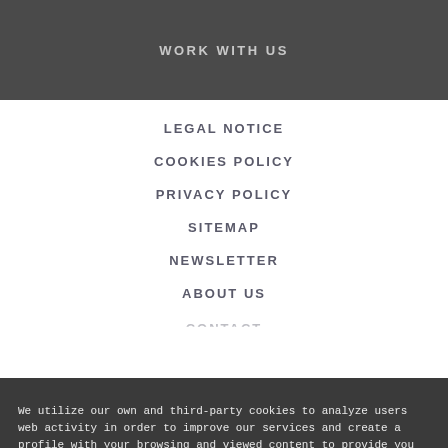WORK WITH US
LEGAL NOTICE
COOKIES POLICY
PRIVACY POLICY
SITEMAP
NEWSLETTER
ABOUT US
CONTACT
We utilize our own and third-party cookies to analyze users web activity in order to improve our services and create a profile with your browsing and viewed content to provide you with personalized advertising. You can accept all cookies by clicking on “Accept All Cookies”, or reject or modify their use here. For more information read our Cookies Policy.
ACCEPT ALL